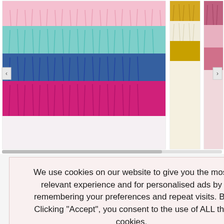[Figure (photo): Three product images of decorative fringe/tinsel curtains: left shows multi-color fringe (pink, teal, blue, magenta), middle shows gold/white/cream fringe, right shows rose gold/pink fringe. Horizontal scroll bar and navigation arrows below.]
We use cookies on our website to give you the most relevant experience and for personalised ads by remembering your preferences and repeat visits. By Clicking "Accept", you consent to the use of ALL the cookies.
YES, I ACCEPT
More Info
Arrival Dates ?
BAG